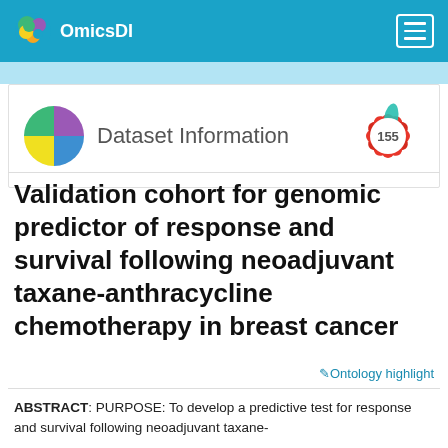OmicsDI
[Figure (logo): OmicsDI logo with colorful circle and text, blue navigation bar with hamburger menu]
[Figure (logo): Dataset Information section header with four-quadrant colored circle icon on left and a red flower badge showing '155' on right]
Validation cohort for genomic predictor of response and survival following neoadjuvant taxane-anthracycline chemotherapy in breast cancer
Ontology highlight
ABSTRACT: PURPOSE: To develop a predictive test for response and survival following neoadjuvant taxane-